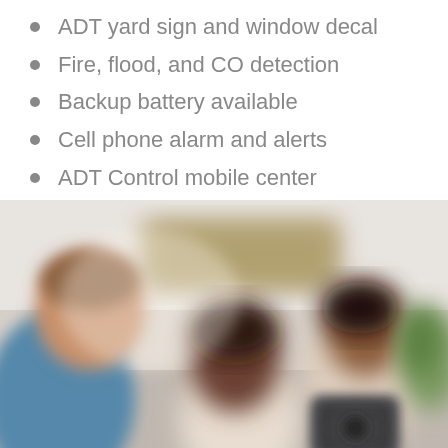ADT yard sign and window decal
Fire, flood, and CO detection
Backup battery available
Cell phone alarm and alerts
ADT Control mobile center
Video surveillance
[Figure (photo): Blurred photo of three people (two women and a man) in a home interior setting, with a security camera device visible in the foreground on the right side. Scene is out of focus with warm indoor lighting.]